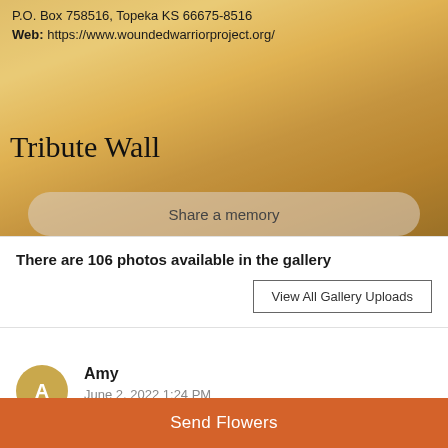P.O. Box 758516, Topeka KS 66675-8516
Web: https://www.woundedwarriorproject.org/
Tribute Wall
Share a memory
There are 106 photos available in the gallery
View All Gallery Uploads
Amy
June 2, 2022 1:24 PM
Uploaded ten photos.
Send Flowers